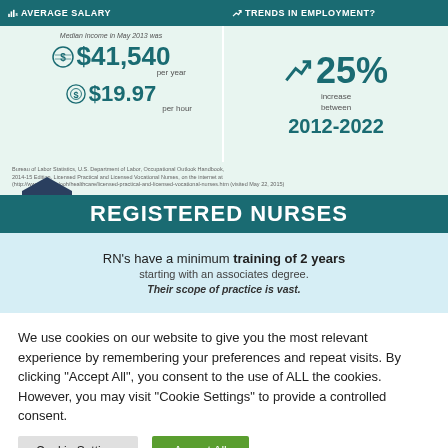AVERAGE SALARY
TRENDS IN EMPLOYMENT?
Median Income in May 2013 was $41,540 per year $19.97 per hour
25% increase between 2012-2022
Bureau of Labor Statistics, U.S. Department of Labor, Occupational Outlook Handbook, 2014-15 Edition, Licensed Practical and Licensed Vocational Nurses, on the internet at (http://www.bls.gov/ooh/healthcare/licensed-practical-and-licensed-vocational-nurses.htm (visited May 22, 2015)
LPN REGISTERED NURSES
RN's have a minimum training of 2 years starting with an associates degree. Their scope of practice is vast.
We use cookies on our website to give you the most relevant experience by remembering your preferences and repeat visits. By clicking "Accept All", you consent to the use of ALL the cookies. However, you may visit "Cookie Settings" to provide a controlled consent.
Cookie Settings | Accept All